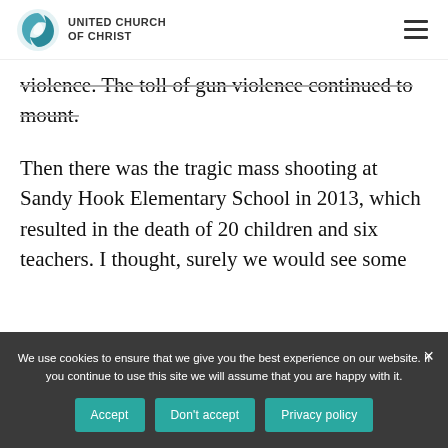UNITED CHURCH OF CHRIST
violence. The toll of gun violence continued to mount.
Then there was the tragic mass shooting at Sandy Hook Elementary School in 2013, which resulted in the death of 20 children and six teachers. I thought, surely we would see some
We use cookies to ensure that we give you the best experience on our website. If you continue to use this site we will assume that you are happy with it.
Accept | Don't accept | Privacy policy